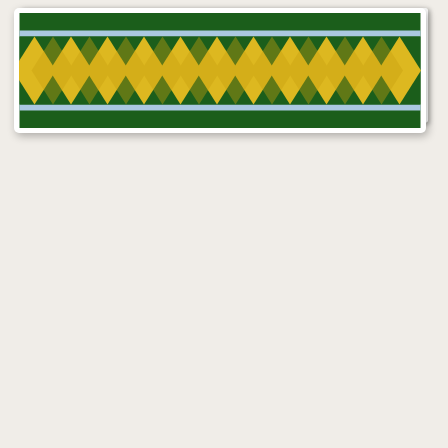[Figure (photo): Closeup of a quilt border showing yellow diamond shapes and green triangles on a green background with a light blue inner border strip. The quilt pattern features flying geese or similar triangular blocks in yellow and green fabrics.]
[Figure (photo): Closeup of a daffodil quilt block. The block features a star/pinwheel pattern made from blue, green, and yellow triangles arranged around a central yellow area. In the center bottom is an appliqued daffodil trumpet in peach/orange with a ruffled orange edge, set against a yellow polka-dot background.]
Here is a closeup of the daffodil block. It is super easy to piece traditionally or to paper piece. The daffodil trumpet is appliqued and the ruffled edge